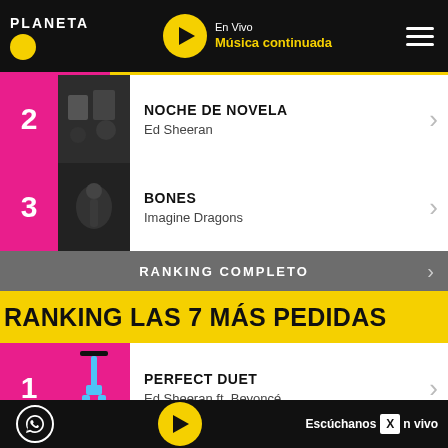PLANETA - En Vivo Música continuada
2 NOCHE DE NOVELA Ed Sheeran
3 BONES Imagine Dragons
RANKING COMPLETO
RANKING LAS 7 MÁS PEDIDAS
1 PERFECT DUET Ed Sheeran ft. Beyoncé
2 HAVANA
Escúchanos en vivo